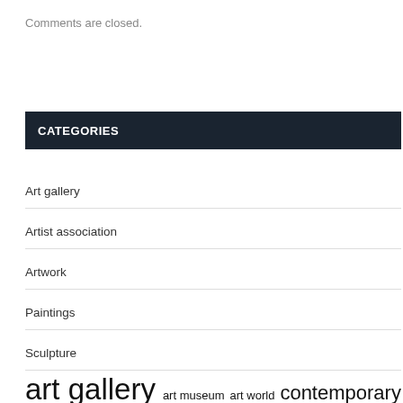Comments are closed.
CATEGORIES
Art gallery
Artist association
Artwork
Paintings
Sculpture
art gallery  art museum  art world  contemporary art  fine arts  high school  local artists  modern art  museum art